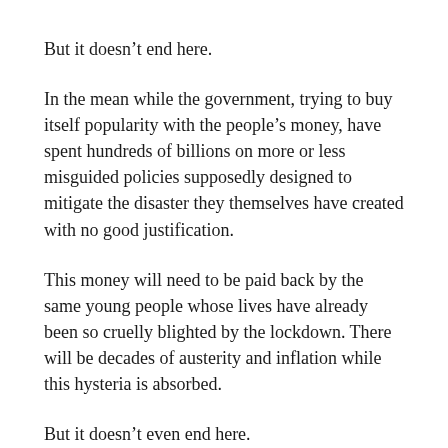But it doesn't end here.
In the mean while the government, trying to buy itself popularity with the people's money, have spent hundreds of billions on more or less misguided policies supposedly designed to mitigate the disaster they themselves have created with no good justification.
This money will need to be paid back by the same young people whose lives have already been so cruelly blighted by the lockdown. There will be decades of austerity and inflation while this hysteria is absorbed.
But it doesn't even end here.
As part of Boris Johnson's personal crusade to get